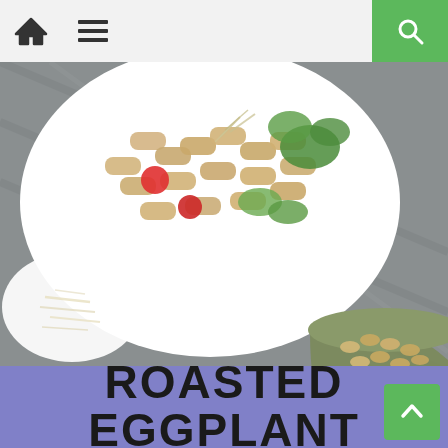Navigation bar with home icon, menu icon, and search icon
[Figure (photo): Top-down view of a bowl of pesto pasta (rigatoni) with cherry tomatoes, broccoli, zucchini, and pine nuts on a gray cloth background, with a small bowl of pine nuts and a dish of shredded cheese visible]
If you have 30 minutes, then you have enough time to throw together this simple Veggie Pesto Pasta recipe. It is made with fresh cooked...Read More
[Figure (photo): Partial view of a 'Roasted Eggplant' article card with bold dark text on a purple/lavender background]